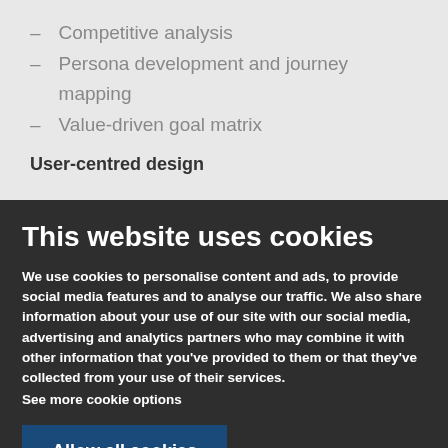– Competitive analysis
– Persona development and journey mapping
– Value-driven goal matrix
User-centred design
This website uses cookies
We use cookies to personalise content and ads, to provide social media features and to analyse our traffic. We also share information about your use of our site with our social media, advertising and analytics partners who may combine it with other information that you've provided to them or that they've collected from your use of their services.
See more cookie options
Allow all cookies